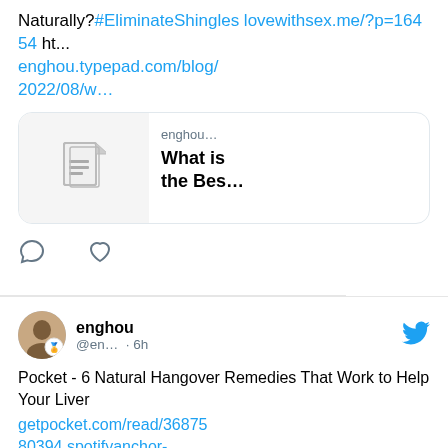Naturally?#EliminateShingles lovewithsex.me/?p=16454 ht... enghou.typepad.com/blog/2022/08/w…
[Figure (screenshot): Article preview card showing a document icon on the left and text 'enghou… What is the Bes…' on the right]
[Figure (infographic): Tweet action icons: comment bubble and heart/like icon]
[Figure (photo): User avatar showing a person's face with a small emoji overlay]
enghou @en… · 6h
Pocket - 6 Natural Hangover Remedies That Work to Help Your Liver getpocket.com/read/368758039‌4 spotifyanchor-web.app.link/e/djvWmeJNIsb